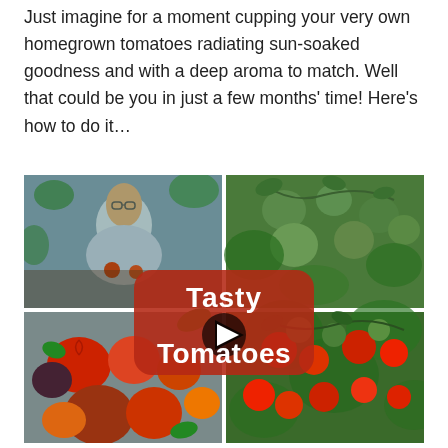Just imagine for a moment cupping your very own homegrown tomatoes radiating sun-soaked goodness and with a deep aroma to match. Well that could be you in just a few months' time! Here's how to do it…
[Figure (photo): A collage of tomato images with a YouTube-style play button overlay and text 'Tasty Tomatoes'. Top-left: man kneeling in garden holding tomatoes. Top-right: green tomatoes on vine. Bottom-left: assorted heirloom tomatoes on surface. Bottom-right: red and green tomatoes on vine.]